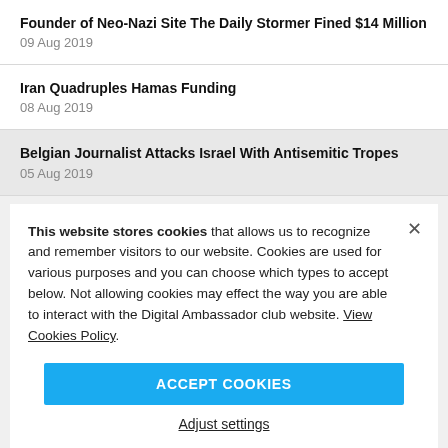Founder of Neo-Nazi Site The Daily Stormer Fined $14 Million
09 Aug 2019
Iran Quadruples Hamas Funding
08 Aug 2019
Belgian Journalist Attacks Israel With Antisemitic Tropes
05 Aug 2019
This website stores cookies that allows us to recognize and remember visitors to our website. Cookies are used for various purposes and you can choose which types to accept below. Not allowing cookies may effect the way you are able to interact with the Digital Ambassador club website. View Cookies Policy.
ACCEPT COOKIES
Adjust settings